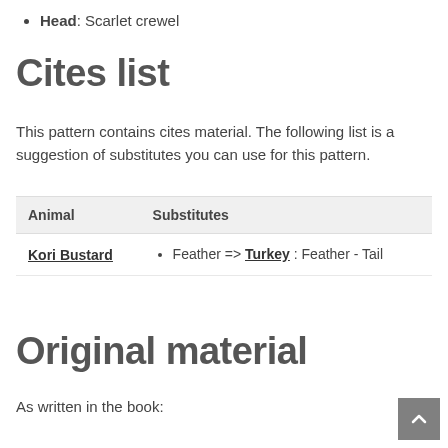Head: Scarlet crewel
Cites list
This pattern contains cites material. The following list is a suggestion of substitutes you can use for this pattern.
| Animal | Substitutes |
| --- | --- |
| Kori Bustard | Feather => Turkey : Feather - Tail |
Original material
As written in the book: